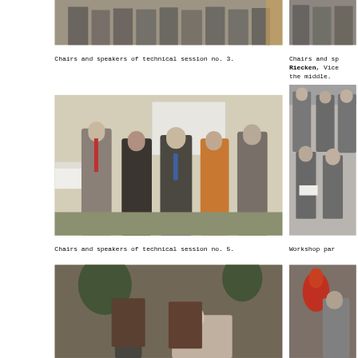[Figure (photo): Group photo of chairs and speakers at technical session, cropped at top showing lower bodies]
Chairs and speakers of technical session no. 3.
[Figure (photo): Partial photo of chairs and speakers at right, cropped on left side; bold name Riecken, Vice..., in the middle mentioned in caption]
Chairs and speakers ... Riecken, Vice... the middle.
[Figure (photo): Group photo of chairs and speakers of technical session no. 5, six people standing in conference room with projection screen]
Chairs and speakers of technical session no. 5.
[Figure (photo): Workshop panel photo, people seated at table, partially cropped on right side]
Workshop par...
[Figure (photo): Bottom left photo, people at dinner/social event, partially visible]
[Figure (photo): Bottom right photo, person with decorative element, partially visible]